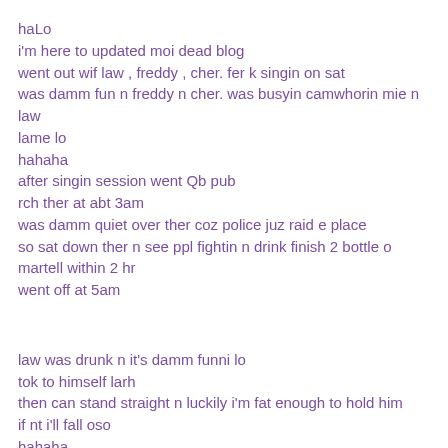haLo
i'm here to updated moi dead blog
went out wif law , freddy , cher. fer k singin on sat
was damm fun n freddy n cher. was busyin camwhorin mie n law
lame lo
hahaha
after singin session went Qb pub
rch ther at abt 3am
was damm quiet over ther coz police juz raid e place
so sat down ther n see ppl fightin n drink finish 2 bottle o martell within 2 hr
went off at 5am
law was drunk n it's damm funni lo
tok to himself larh
then can stand straight n luckily i'm fat enough to hold him
if nt i'll fall oso
hahaha